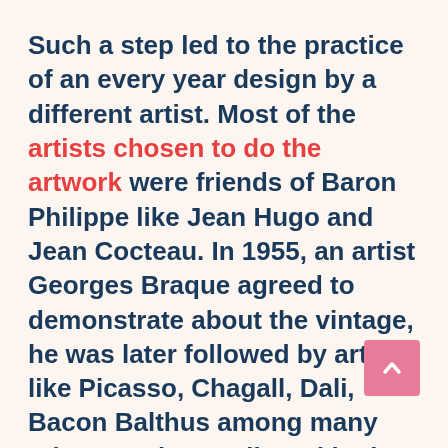Such a step led to the practice of an every year design by a different artist. Most of the artists chosen to do the artwork were friends of Baron Philippe like Jean Hugo and Jean Cocteau. In 1955, an artist Georges Braque agreed to demonstrate about the vintage, he was later followed by artists like Picasso, Chagall, Dali, Bacon Balthus among many others each contributed in the development of a new artwork each year.
Today, the brand is owned by the Rothschilds, Philippe Sereys, Julien